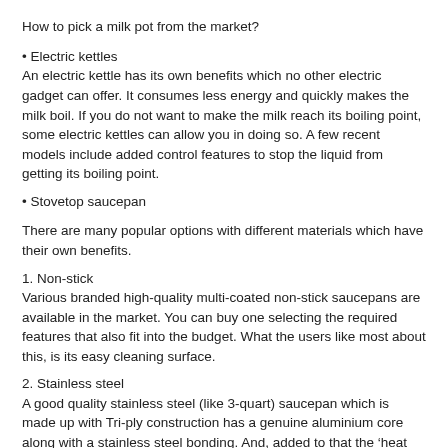How to pick a milk pot from the market?
• Electric kettles
An electric kettle has its own benefits which no other electric gadget can offer. It consumes less energy and quickly makes the milk boil. If you do not want to make the milk reach its boiling point, some electric kettles can allow you in doing so. A few recent models include added control features to stop the liquid from getting its boiling point.
• Stovetop saucepan
There are many popular options with different materials which have their own benefits.
1. Non-stick
Various branded high-quality multi-coated non-stick saucepans are available in the market. You can buy one selecting the required features that also fit into the budget. What the users like most about this, is its easy cleaning surface.
2. Stainless steel
A good quality stainless steel (like 3-quart) saucepan which is made up with Tri-ply construction has a genuine aluminium core along with a stainless steel bonding. And, added to that the 'heat surround' technology can offer an even heat distribution to the saucepan. Stainless has been counted for years as an